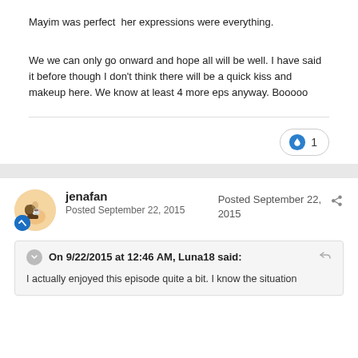Mayim was perfect  her expressions were everything.
We we can only go onward and hope all will be well. I have said it before though I don't think there will be a quick kiss and makeup here. We know at least 4 more eps anyway. Booooo
jenafan
Posted September 22, 2015
Posted September 22, 2015
On 9/22/2015 at 12:46 AM, Luna18 said:
I actually enjoyed this episode quite a bit. I know the situation